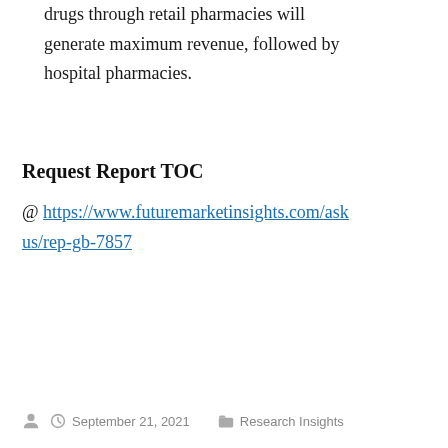drugs through retail pharmacies will generate maximum revenue, followed by hospital pharmacies.
Request Report TOC
@ https://www.futuremarketinsights.com/askus/rep-gb-7857
September 21, 2021   Research Insights